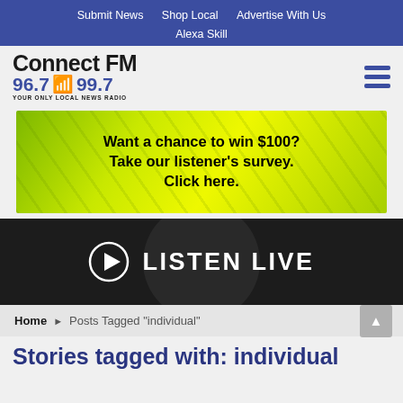Submit News | Shop Local | Advertise With Us | Alexa Skill
[Figure (logo): Connect FM 96.7 99.7 Your Only Local News Radio logo]
[Figure (infographic): Banner ad: Want a chance to win $100? Take our listener's survey. Click here. Yellow-green money background.]
[Figure (infographic): Listen Live button with play icon on dark background]
Home > Posts Tagged "individual"
Stories tagged with: individual